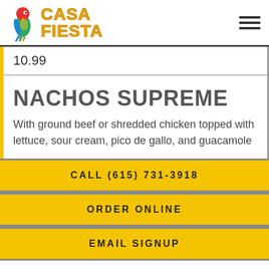[Figure (logo): Casa Fiesta restaurant logo with a colorful parrot and yellow text reading CASA FIESTA]
10.99
NACHOS SUPREME
With ground beef or shredded chicken topped with lettuce, sour cream, pico de gallo, and guacamole
CALL (615) 731-3918
ORDER ONLINE
EMAIL SIGNUP